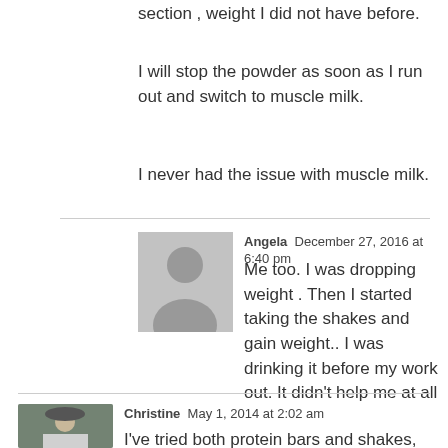section , weight I did not have before.
I will stop the powder as soon as I run out and switch to muscle milk.
I never had the issue with muscle milk.
Angela  December 27, 2016 at 6:40 pm
Me too. I was dropping weight . Then I started taking the shakes and gain weight.. I was drinking it before my work out. It didn't help me at all
Christine  May 1, 2014 at 2:02 am
I've tried both protein bars and shakes, and